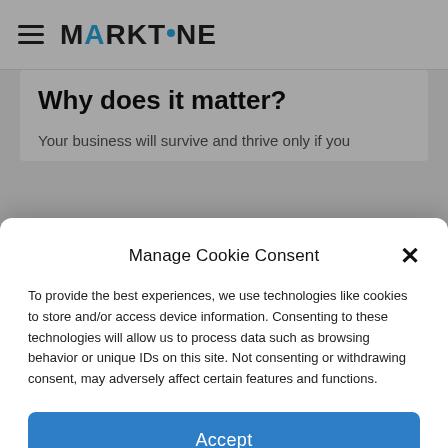MARKTINE
Why does it matter?
Your business will survive and thrive only if you
Manage Cookie Consent
To provide the best experiences, we use technologies like cookies to store and/or access device information. Consenting to these technologies will allow us to process data such as browsing behavior or unique IDs on this site. Not consenting or withdrawing consent, may adversely affect certain features and functions.
Accept
[Figure (photo): Blurred background image of shelves with colorful sticky notes and papers]